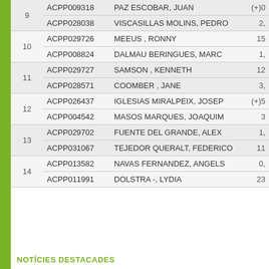| # | Code | Name | Value |
| --- | --- | --- | --- |
| 9 | ACPP009318 | PAZ ESCOBAR, JUAN | (+)0 |
| 9 | ACPP028038 | VISCASILLAS MOLINS, PEDRO | 2, |
| 10 | ACPP029726 | MEEUS , RONNY | 15 |
| 10 | ACPP008824 | DALMAU BERINGUES, MARC | 1, |
| 11 | ACPP029727 | SAMSON , KENNETH | 12 |
| 11 | ACPP028571 | COOMBER , JANE | 3, |
| 12 | ACPP026437 | IGLESIAS MIRALPEIX, JOSEP | (+)5 |
| 12 | ACPP004542 | MASOS MARQUES, JOAQUIM | 3 |
| 13 | ACPP029702 | FUENTE DEL GRANDE, ALEX | 1, |
| 13 | ACPP031067 | TEJEDOR QUERALT, FEDERICO | 11 |
| 14 | ACPP013582 | NAVAS FERNANDEZ, ANGELS | 0, |
| 14 | ACPP011991 | DOLSTRA -, LYDIA | 23 |
NOTÍCIES DESTACADES